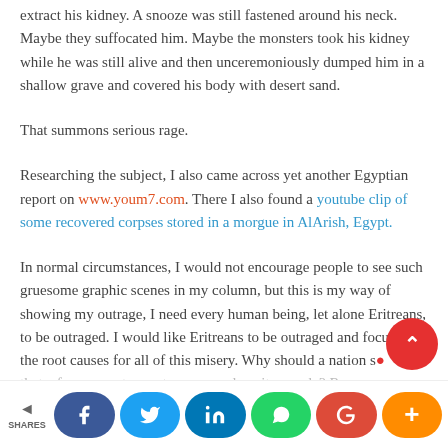extract his kidney. A snooze was still fastened around his neck. Maybe they suffocated him. Maybe the monsters took his kidney while he was still alive and then unceremoniously dumped him in a shallow grave and covered his body with desert sand.
That summons serious rage.
Researching the subject, I also came across yet another Egyptian report on www.youm7.com. There I also found a youtube clip of some recovered corpses stored in a morgue in AlArish, Egypt.
In normal circumstances, I would not encourage people to see such gruesome graphic scenes in my column, but this is my way of showing my outrage, I need every human being, let alone Eritreans, to be outraged. I would like Eritreans to be outraged and focus on the root causes for all of this misery. Why should a nation s... that a few corrupt monsters can enslave its people? Reca...
[Figure (infographic): Social sharing bar at the bottom with share icon and SHARES label on the left, followed by circular social media buttons: Facebook (blue), Twitter (blue), LinkedIn (blue), WhatsApp (green), Google (red), plus/more (orange). Red scroll-to-top circular button in lower right.]